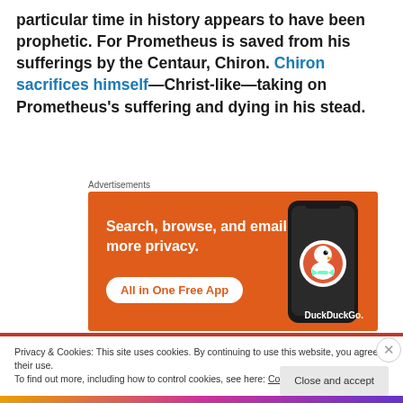particular time in history appears to have been prophetic. For Prometheus is saved from his sufferings by the Centaur, Chiron. Chiron sacrifices himself—Christ-like—taking on Prometheus's suffering and dying in his stead.
Advertisements
[Figure (other): DuckDuckGo advertisement banner: orange background with text 'Search, browse, and email with more privacy. All in One Free App' and a phone showing DuckDuckGo logo]
Privacy & Cookies: This site uses cookies. By continuing to use this website, you agree to their use.
To find out more, including how to control cookies, see here: Cookie Policy
Close and accept